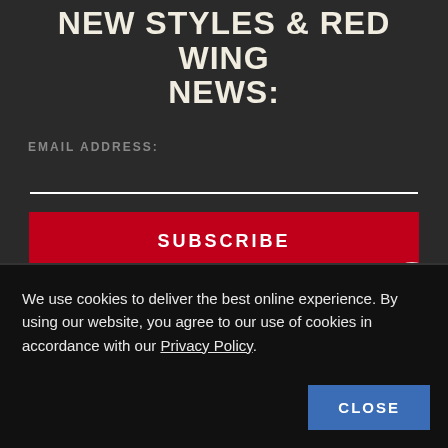NEW STYLES & RED WING NEWS:
EMAIL ADDRESS:
SUBSCRIBE
We use cookies to deliver the best online experience. By using our website, you agree to our use of cookies in accordance with our Privacy Policy.
CLOSE